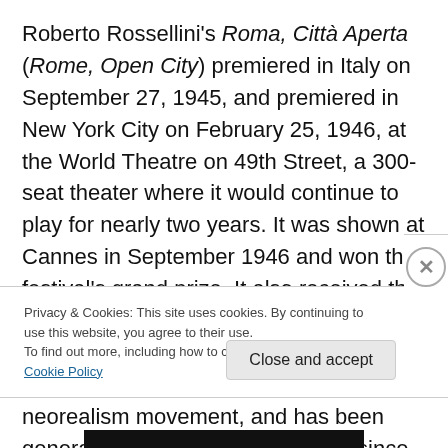Roberto Rossellini's Roma, Città Aperta (Rome, Open City) premiered in Italy on September 27, 1945, and premiered in New York City on February 25, 1946, at the World Theatre on 49th Street, a 300-seat theater where it would continue to play for nearly two years. It was shown at Cannes in September 1946 and won the festival's grand prize. It also received the New York Film Critics Circle award for best foreign film of 1946. It's cited as one of the earliest masterpieces of the Italian neorealism movement, and has been generally accepted as a great film since its release. The problem with instant masterpieces is that
Privacy & Cookies: This site uses cookies. By continuing to use this website, you agree to their use.
To find out more, including how to control cookies, see here: Cookie Policy
Close and accept